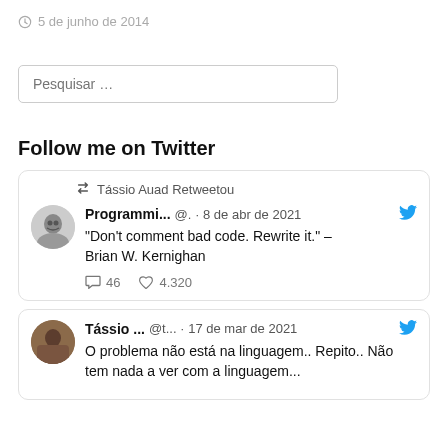🕐 5 de junho de 2014
[Figure (screenshot): Search box with placeholder text 'Pesquisar ...']
Follow me on Twitter
[Figure (screenshot): Tweet card: Tássio Auad Retweetou. Programmi... @. · 8 de abr de 2021. "Don't comment bad code. Rewrite it." – Brian W. Kernighan. 46 replies, 4.320 likes.]
[Figure (screenshot): Tweet card: Tássio ... @t... · 17 de mar de 2021. O problema não está na linguagem.. Repito.. Não tem nada a ver com a linguagem...]